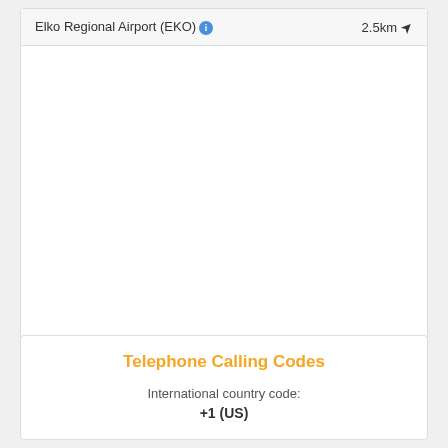| Airport | Distance |
| --- | --- |
| Elko Regional Airport (EKO) | 2.5km |
[Figure (map): Map area showing Elko Regional Airport vicinity (blank/loading state)]
Telephone Calling Codes
International country code:
+1 (US)